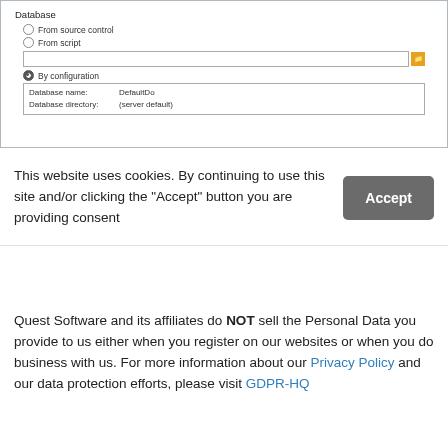[Figure (screenshot): A software configuration dialog screenshot showing a Database section with radio buttons: 'From source control', 'From script', and 'By configuration' (selected). A text input field with a folder button is shown. A configuration table displays 'Database name: DefaultDo' and 'Database directory: (server default)'.]
This website uses cookies. By continuing to use this site and/or clicking the "Accept" button you are providing consent
Quest Software and its affiliates do NOT sell the Personal Data you provide to us either when you register on our websites or when you do business with us. For more information about our Privacy Policy and our data protection efforts, please visit GDPR-HQ